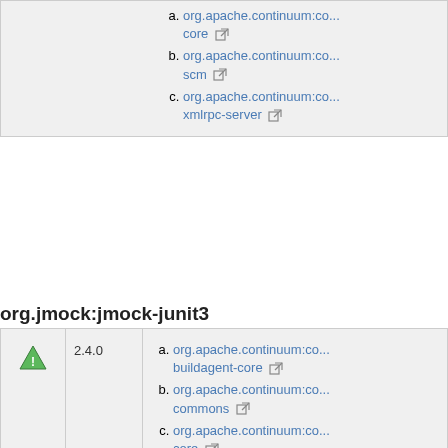| icon | version | dependencies |
| --- | --- | --- |
| green-icon |  | c. org.apache.continuum:co... core, d. org.apache.continuum:co... scm, e. org.apache.continuum:co... xmlrpc-server |
org.jmock:jmock-junit3
| icon | version | dependencies |
| --- | --- | --- |
| green-icon | 2.4.0 | a. org.apache.continuum:co... buildagent-core, b. org.apache.continuum:co... commons, c. org.apache.continuum:co... core, d. org.apache.continuum:co... scm, e. org.apache.continuum:co... xmlrpc-server |
org.jsoup:jsoup
| icon | version | dependencies |
| --- | --- | --- |
| green-icon | 1.5.2 | a. org.apache.continuum:co... |